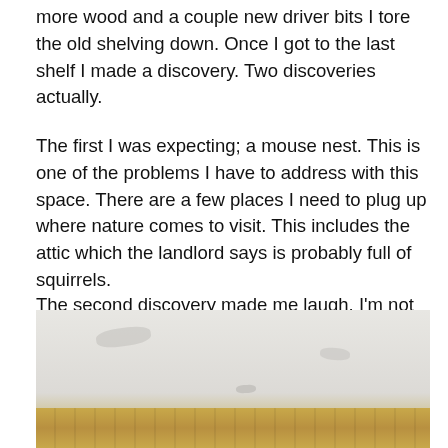more wood and a couple new driver bits I tore the old shelving down. Once I got to the last shelf I made a discovery. Two discoveries actually.
The first I was expecting; a mouse nest. This is one of the problems I have to address with this space. There are a few places I need to plug up where nature comes to visit. This includes the attic which the landlord says is probably full of squirrels.
The second discovery made me laugh. I'm not sure if they belong to the owner or their kids. The issues are 24 years old, so could easily be either.
[Figure (photo): A photo showing a plain white/grey wall with a wooden shelf or ledge at the bottom, slightly worn surface with faint marks and scratches visible]